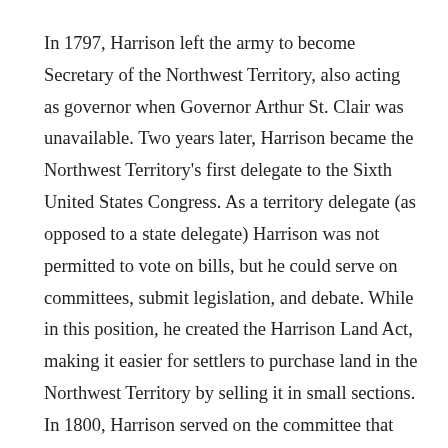In 1797, Harrison left the army to become Secretary of the Northwest Territory, also acting as governor when Governor Arthur St. Clair was unavailable. Two years later, Harrison became the Northwest Territory's first delegate to the Sixth United States Congress. As a territory delegate (as opposed to a state delegate) Harrison was not permitted to vote on bills, but he could serve on committees, submit legislation, and debate. While in this position, he created the Harrison Land Act, making it easier for settlers to purchase land in the Northwest Territory by selling it in small sections. In 1800, Harrison served on the committee that decided how to divide the Northwest Territory, establishing the Ohio and Indiana Territories.